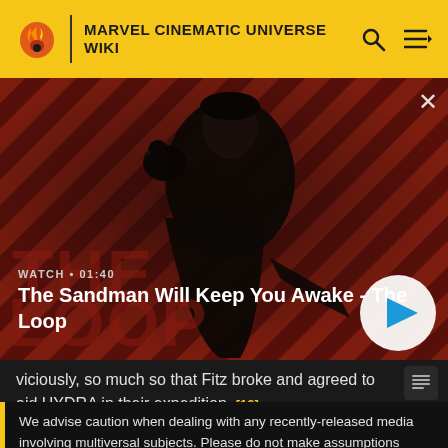MARVEL CINEMATIC UNIVERSE WIKI
[Figure (screenshot): Video thumbnail showing a dark figure with a bird on their shoulder against a red diagonal striped background. Title reads 'The Sandman Will Keep You Awake - The Loop'. Watch time 01:40. Play button visible.]
viciously, so much so that Fitz broke and agreed to aid HYDRA in their expedition. [10]
We advise caution when dealing with any recently-released media involving multiversal subjects. Please do not make assumptions regarding confusing wording, other sites' speculation, and people's headcanon around the internet.